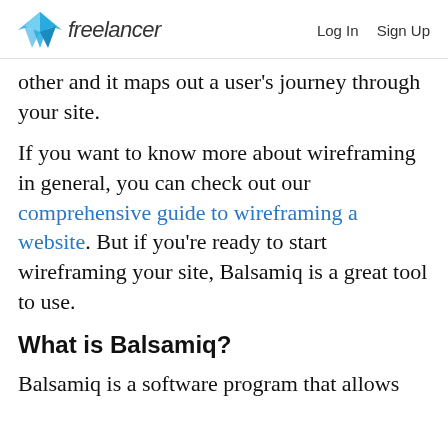freelancer  Log In  Sign Up
other and it maps out a user's journey through your site.
If you want to know more about wireframing in general, you can check out our comprehensive guide to wireframing a website. But if you're ready to start wireframing your site, Balsamiq is a great tool to use.
What is Balsamiq?
Balsamiq is a software program that allows